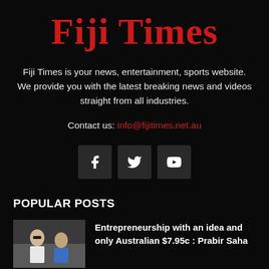Fiji Times
Fiji Times is your news, entertainment, sports website. We provide you with the latest breaking news and videos straight from all industries.
Contact us: info@fijitimes.net.au
[Figure (infographic): Social media icons for Facebook, Twitter, and YouTube]
POPULAR POSTS
Entrepreneurship with an idea and only Australian $7.95c : Prabir Saha